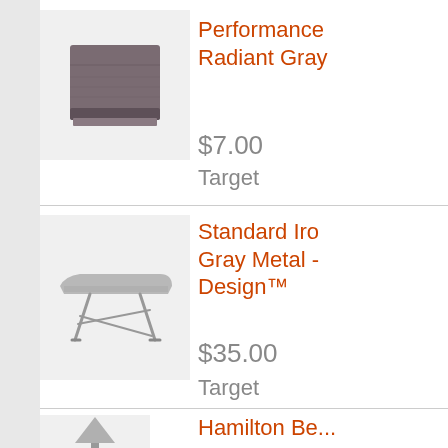[Figure (photo): Folded gray towel product photo on light background]
Performance Radiant Gray
$7.00
Target
[Figure (photo): Standard ironing board with gray metal legs on light background]
Standard Iron Gray Metal - Design™
$35.00
Target
[Figure (photo): Hamilton Beach product partial image at bottom]
Hamilton Be...